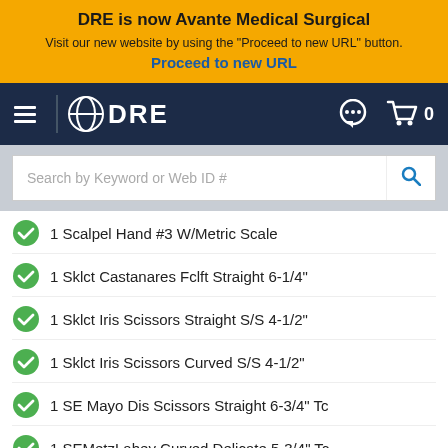DRE is now Avante Medical Surgical
Visit our new website by using the "Proceed to new URL" button.
Proceed to new URL
[Figure (logo): DRE navigation bar with hamburger menu, globe+DRE logo, chat icon, and cart icon]
Search by Keyword or Web ID #
1 Scalpel Hand #3 W/Metric Scale
1 Sklct Castanares Fclft Straight 6-1/4"
1 Sklct Iris Scissors Straight S/S 4-1/2"
1 Sklct Iris Scissors Curved S/S 4-1/2"
1 SE Mayo Dis Scissors Straight 6-3/4" Tc
1 SEMetzLahey Curved Delicate 5-3/4" Tc
2 Halsted Mosquito ForcepsStraight 5"